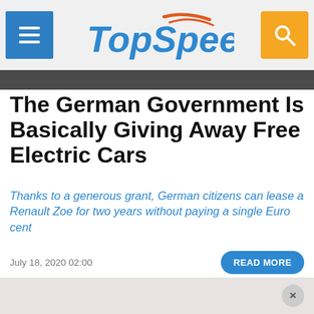TopSpeed
The German Government Is Basically Giving Away Free Electric Cars
Thanks to a generous grant, German citizens can lease a Renault Zoe for two years without paying a single Euro cent
July 18, 2020 02:00
READ MORE
OVERVIEW